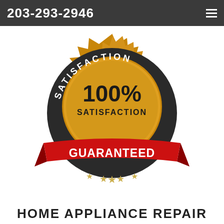203-293-2946
[Figure (logo): 100% Satisfaction Guaranteed badge/seal — a dark circular medallion with gold sunburst/zigzag outer ring, text 'SATISFACTION' arched around the top in white, a gold inner circle with '100%' in large bold black numbers and 'SATISFACTION' below it, a red ribbon banner across the lower portion with 'GUARANTEED' in large white bold text, and small gold stars at the bottom.]
HOME APPLIANCE REPAIR